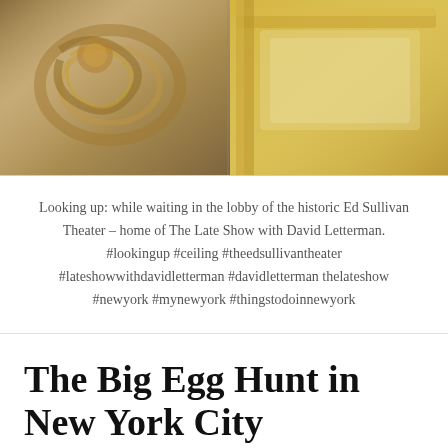[Figure (photo): Looking up at ornate gilded picture frames in the lobby of the historic Ed Sullivan Theater]
Looking up: while waiting in the lobby of the historic Ed Sullivan Theater – home of The Late Show with David Letterman. #lookingup #ceiling #theedsullivantheater #lateshowwithdavidletterman #davidletterman thelateshow #newyork #mynewyork #thingstodoinnewyork
The Big Egg Hunt in New York City